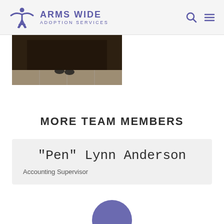ARMS WIDE ADOPTION SERVICES
[Figure (photo): Partial photo of an animal (appears to be a cat or dog) in a dark interior space, visible at the top-left of the page below the header]
MORE TEAM MEMBERS
"Pen" Lynn Anderson
Accounting Supervisor
[Figure (illustration): Partial purple circular avatar/silhouette icon at the bottom of the page]